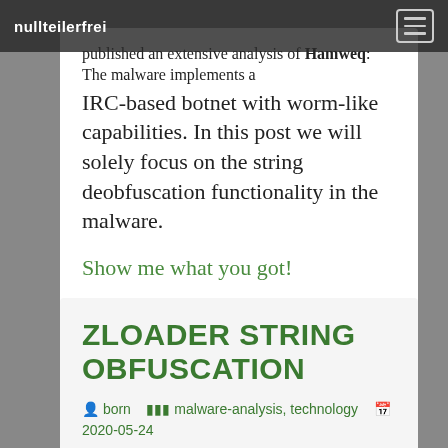nullteilerfrei
published an extensive analysis of Hamweq: The malware implements a IRC-based botnet with worm-like capabilities. In this post we will solely focus on the string deobfuscation functionality in the malware.
Show me what you got!
ZLOADER STRING OBFUSCATION
born   malware-analysis, technology   2020-05-24
This blag post describes my though-